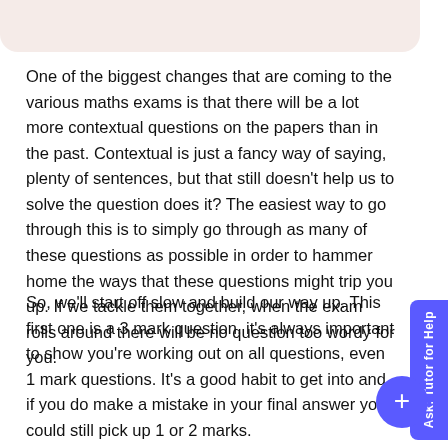One of the biggest changes that are coming to the various maths exams is that there will be a lot more contextual questions on the papers than in the past. Contextual is just a fancy way of saying, plenty of sentences, but that still doesn't help us to solve the question does it? The easiest way to go through this is to simply go through as many of these questions as possible in order to hammer home the ways that these questions might trip you up. If we tackle them together, when the exam rolls around there will be no question too wordy for you.
So, we'll start off slow and build our way up. This first one is a 3 mark question, it's always important to show you're working out on all questions, even 1 mark questions. It's a good habit to get into and if you do make a mistake in your final answer you could still pick up 1 or 2 marks.